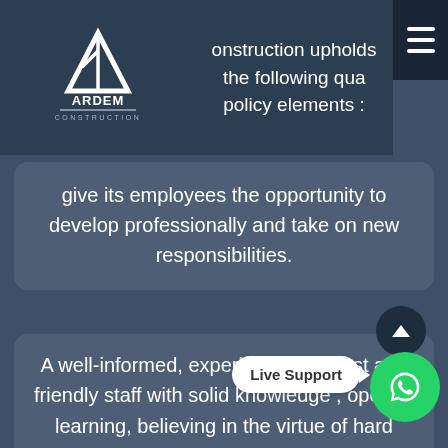[Figure (logo): Ardem Construction company logo — triangle/arrow icon above text reading ARDEM CONSTRUCTION, white on dark navy background]
onstruction upholds the following quality policy elements :
give its employees the opportunity to develop professionally and take on new responsibilities.
A well-informed, experienced, honest and friendly staff with solid knowledge , open to learning, believing in the virtue of hard work.
An administrative approach that will enable its employees to be loyal to their company, develop professionally using